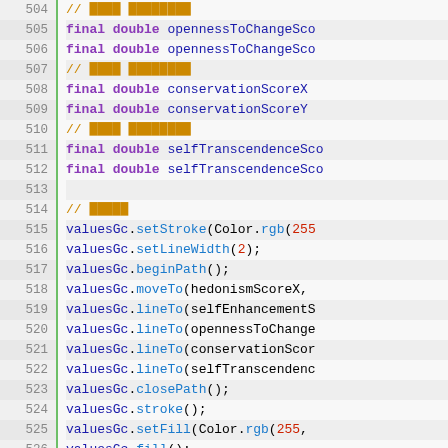[Figure (screenshot): Source code editor screenshot showing Java code lines 505-530 with syntax highlighting. Line numbers on left with green border, code on right with purple keywords, blue method calls, orange comments, and red numeric literals.]